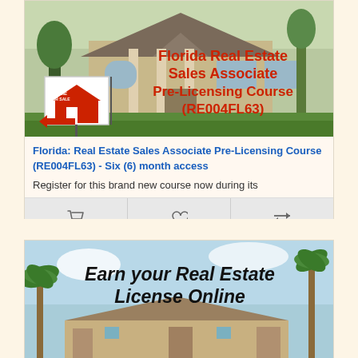[Figure (photo): Florida Real Estate Sales Associate Pre-Licensing Course (RE004FL63) promotional image showing a house exterior with 'Home For Sale' sign]
Florida: Real Estate Sales Associate Pre-Licensing Course (RE004FL63) - Six (6) month access
Register for this brand new course now during its
[Figure (screenshot): Add to cart, wishlist, and compare action buttons row]
[Figure (photo): Earn your Real Estate License Online - promotional image showing a house exterior with palm trees]